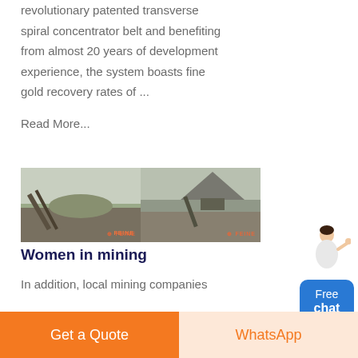revolutionary patented transverse spiral concentrator belt and benefiting from almost 20 years of development experience, the system boasts fine gold recovery rates of ...
Read More...
[Figure (photo): Two side-by-side photos of mining equipment and quarry/industrial site with branded watermarks]
Women in mining
In addition, local mining companies
[Figure (other): Free chat widget with customer service person illustration and blue button labeled Free chat]
Get a Quote
WhatsApp